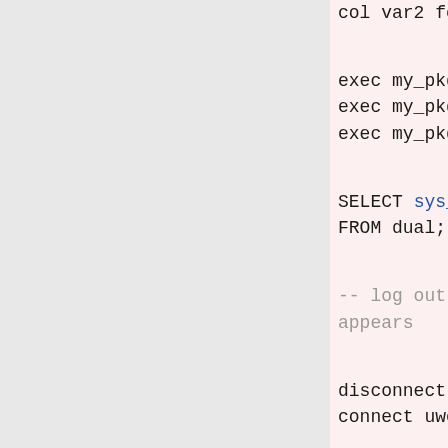col var2 forma
exec my_pkg.se
exec my_pkg.se
exec my_pkg.se

SELECT sys_con
FROM dual;

-- log out and
appears

disconnect
connect uwclas

SELECT sys_con
FROM dual;

exec my_pkg.se

SELECT sys_con
FROM dual;

-- this contex
session).